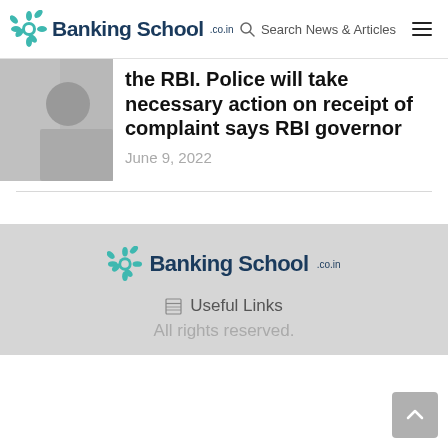Banking School .co.in | Search News & Articles
[Figure (photo): Partial thumbnail image of a person, cropped, grayscale/color tones]
the RBI. Police will take necessary action on receipt of complaint says RBI governor
June 9, 2022
[Figure (logo): Banking School .co.in logo in footer]
Useful Links
All rights reserved.
Back to top button